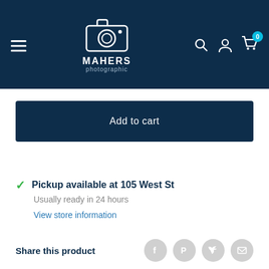[Figure (logo): Mahers Photographic logo with camera icon, white text on dark navy background, hamburger menu icon on left, search/account/cart icons on right with cart badge showing 0]
Add to cart
Pickup available at 105 West St
Usually ready in 24 hours
View store information
Share this product